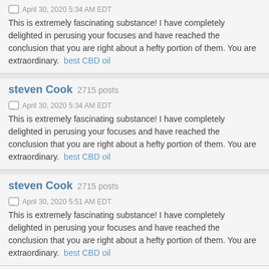April 30, 2020 5:34 AM EDT
This is extremely fascinating substance! I have completely delighted in perusing your focuses and have reached the conclusion that you are right about a hefty portion of them. You are extraordinary.  best CBD oil
steven Cook 2715 posts
April 30, 2020 5:34 AM EDT
This is extremely fascinating substance! I have completely delighted in perusing your focuses and have reached the conclusion that you are right about a hefty portion of them. You are extraordinary.  best CBD oil
steven Cook 2715 posts
April 30, 2020 5:51 AM EDT
This is extremely fascinating substance! I have completely delighted in perusing your focuses and have reached the conclusion that you are right about a hefty portion of them. You are extraordinary.  best CBD oil
« Previous  13  14  15  16  17  18  19  20  21  22  Next »